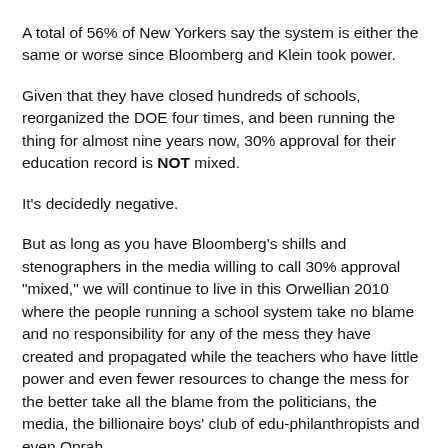A total of 56% of New Yorkers say the system is either the same or worse since Bloomberg and Klein took power.
Given that they have closed hundreds of schools, reorganized the DOE four times, and been running the thing for almost nine years now, 30% approval for their education record is NOT mixed.
It's decidedly negative.
But as long as you have Bloomberg's shills and stenographers in the media willing to call 30% approval "mixed," we will continue to live in this Orwellian 2010 where the people running a school system take no blame and no responsibility for any of the mess they have created and propagated while the teachers who have little power and even fewer resources to change the mess for the better take all the blame from the politicians, the media, the billionaire boys' club of edu-philanthropists and even Oprah.
But it looks like, with only 30% of New Yorkers thinking that